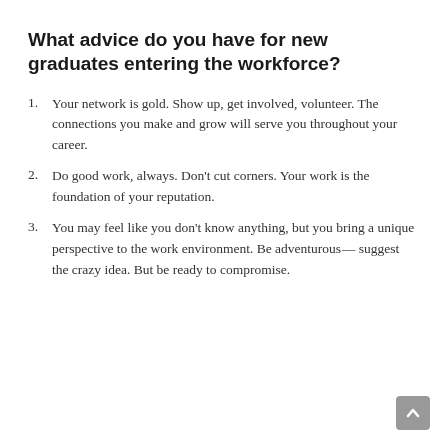What advice do you have for new graduates entering the workforce?
Your network is gold. Show up, get involved, volunteer. The connections you make and grow will serve you throughout your career.
Do good work, always. Don’t cut corners. Your work is the foundation of your reputation.
You may feel like you don’t know anything, but you bring a unique perspective to the work environment. Be adventurous—suggest the crazy idea. But be ready to compromise.